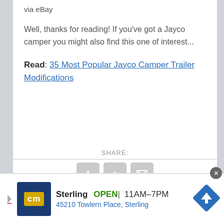via eBay
Well, thanks for reading! If you've got a Jayco camper you might also find this one of interest...
Read: 35 Most Popular Jayco Camper Trailer Modifications
SHARE:
[Figure (infographic): Share buttons row with Facebook (f), Pinterest (p), and email (envelope) icons in grey rounded square buttons]
[Figure (infographic): Advertisement bar showing CM logo, Sterling store name, OPEN status, hours 11AM-7PM, address 45210 Towlern Place Sterling, and blue navigation arrow icon]